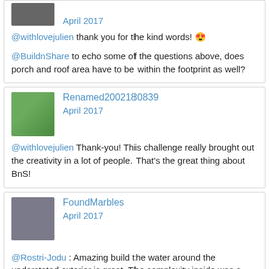April 2017
@withlovejulien thank you for the kind words! 😍
@BuildnShare to echo some of the questions above, does porch and roof area have to be within the footprint as well?
Renamed2002180839
April 2017
@withlovejulien Thank-you! This challenge really brought out the creativity in a lot of people. That's the great thing about BnS!
FoundMarbles
April 2017
@Rostri-Jodu : Amazing build the water around the understated exterior is great. The complexity inside was a real